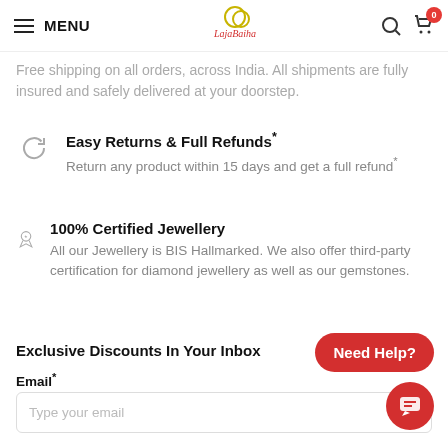MENU | LajaBaiha logo | Search | Cart (0)
Free shipping on all orders, across India. All shipments are fully insured and safely delivered at your doorstep.
Easy Returns & Full Refunds*
Return any product within 15 days and get a full refund*
100% Certified Jewellery
All our Jewellery is BIS Hallmarked. We also offer third-party certification for diamond jewellery as well as our gemstones.
Exclusive Discounts In Your Inbox
Email*
Type your email